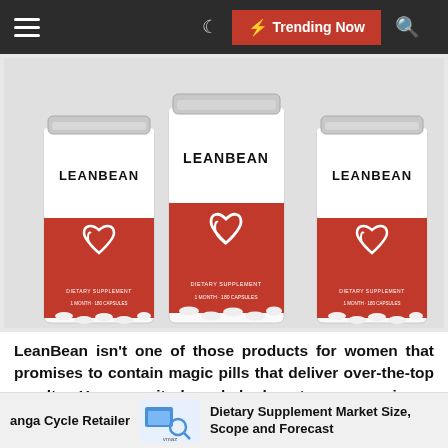☰  ☾  ⚡ Trending Now  🔍
[Figure (photo): Three bottles of LeanBean dietary supplement with red labels featuring a heart logo and white capsules visible at the bottom]
LeanBean isn't one of those products for women that promises to contain magic pills that deliver over-the-top results. However, it does help boost energy using a green coffee bean extract combined with other effective
anga Cycle Retailer   [icon]   Dietary Supplement Market Size, Scope and Forecast